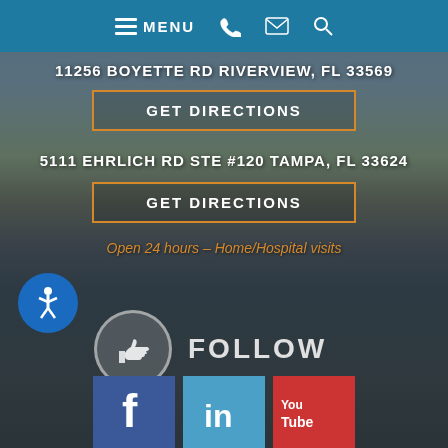MENU
11256 BOYETTE RD RIVERVIEW, FL 33569
GET DIRECTIONS
5111 EHRLICH RD STE #120 TAMPA, FL 33624
GET DIRECTIONS
Open 24 hours – Home/Hospital visits
[Figure (illustration): Thumbs up circle icon with FOLLOW text for social media]
[Figure (illustration): Wheelchair accessibility icon — blue circle with white wheelchair symbol]
[Figure (illustration): Social media icons row: Facebook (f), LinkedIn (in), YouTube (You Tube)]